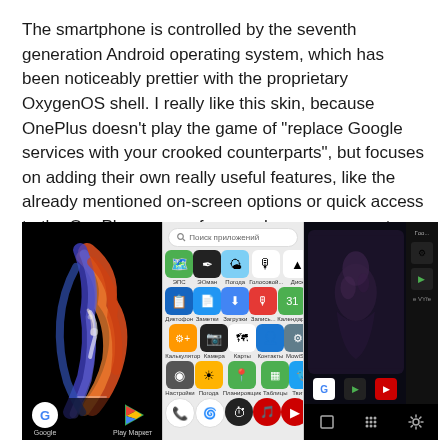The smartphone is controlled by the seventh generation Android operating system, which has been noticeably prettier with the proprietary OxygenOS shell. I really like this skin, because OnePlus doesn't play the game of "replace Google services with your crooked counterparts", but focuses on adding their own really useful features, like the already mentioned on-screen options or quick access to the OnePlus owners forum, where you can get advice on any issue.
[Figure (photo): Three smartphone screenshots side by side: (1) OnePlus phone homescreen with colorful bird/feather swirl wallpaper on black background, Google and Play Store icons at bottom; (2) Android app drawer with Russian-language search bar and app icons grid; (3) Recent apps screen showing app thumbnails on dark background with navigation bar at bottom.]